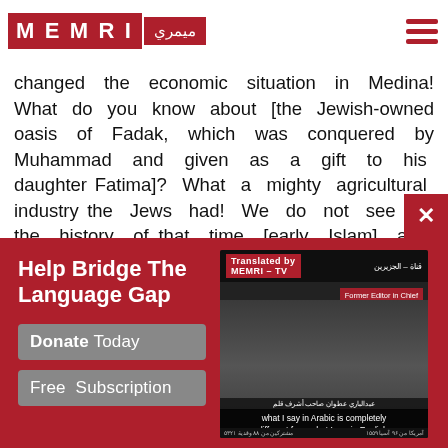[Figure (logo): MEMRI logo with red background tiles for each letter M E M R I and Arabic text میمری]
changed the economic situation in Medina! What do you know about [the Jewish-owned oasis of Fadak, which was conquered by Muhammad and given as a gift to his daughter Fatima]? What a mighty agricultural industry the Jews had! We do not see in the history of that time [early Islam] any place in the world
Help Bridge The Language Gap
Donate Today
Free Subscription
[Figure (screenshot): MEMRI-TV video screenshot showing a man in a suit identified as Former Editor in Chief of Al-Quds Al-Arabi Abd Al-Bari Atwan on Al Jazeera TV, with subtitle: what I say in Arabic is completely different from what I say in English.]